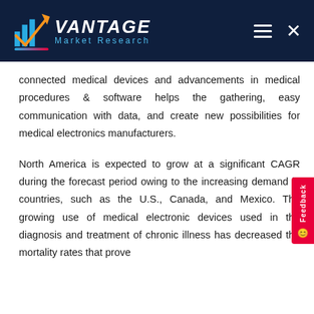Vantage Market Research
connected medical devices and advancements in medical procedures & software helps the gathering, easy communication with data, and create new possibilities for medical electronics manufacturers.
North America is expected to grow at a significant CAGR during the forecast period owing to the increasing demand in countries, such as the U.S., Canada, and Mexico. The growing use of medical electronic devices used in the diagnosis and treatment of chronic illness has decreased the mortality rates that prove